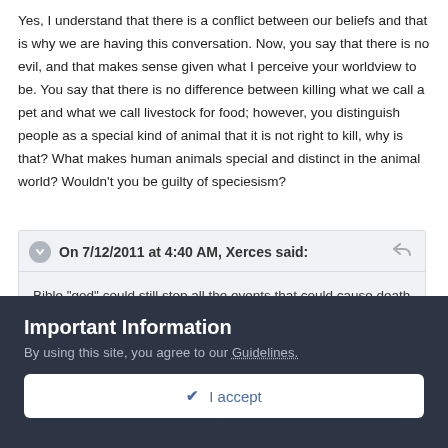Yes, I understand that there is a conflict between our beliefs and that is why we are having this conversation. Now, you say that there is no evil, and that makes sense given what I perceive your worldview to be. You say that there is no difference between killing what we call a pet and what we call livestock for food; however, you distinguish people as a special kind of animal that it is not right to kill, why is that? What makes human animals special and distinct in the animal world? Wouldn't you be guilty of speciesism?
On 7/12/2011 at 4:40 AM, Xerces said:
Bible "god" could still stop all the events that could cause death and we would have free will. But if you believe otherwise, then "god" should not intervene at all, no prayers, no favors, no shit to lick off your boots, nothing. Do you even have kids, or siblings? If it was in your power, as a good "moral" person, to keep them from harm but otherwise let them live how they choose, would you not? If you would let them be
Important Information
By using this site, you agree to our Guidelines.
I accept